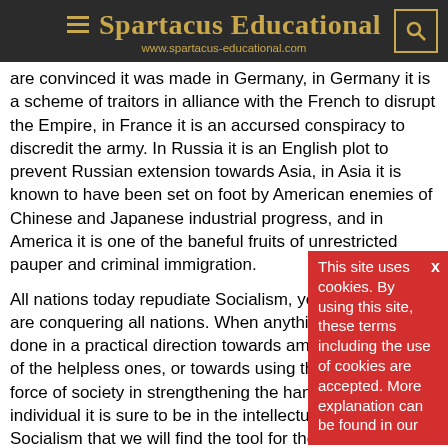Spartacus Educational
www.spartacus-educational.com
are convinced it was made in Germany, in Germany it is a scheme of traitors in alliance with the French to disrupt the Empire, in France it is an accursed conspiracy to discredit the army. In Russia it is an English plot to prevent Russian extension towards Asia, in Asia it is known to have been set on foot by American enemies of Chinese and Japanese industrial progress, and in America it is one of the baneful fruits of unrestricted pauper and criminal immigration.
All nations today repudiate Socialism, yet Socialist ideas are conquering all nations. When anything has to be done in a practical direction towards ameliorating the lot of the helpless ones, or towards using the collective force of society in strengthening the hands of the individual it is sure to be in the intellectual armoury of Socialism that we will find the tool for the work.
(2) James Connolly
This site uses cookies. By using this site, these terms including the use of cookies are accepted. More explanation can be found in our